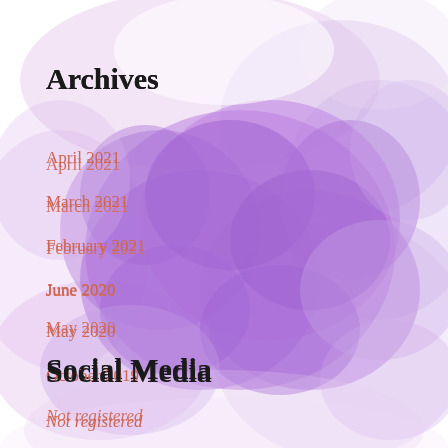[Figure (illustration): Watercolor abstract floral/cloud background in shades of purple, lavender, and pink covering the page]
Archives
April 2021
March 2021
February 2021
June 2020
May 2020
October 2019
September 2019
Social Media
Not registered